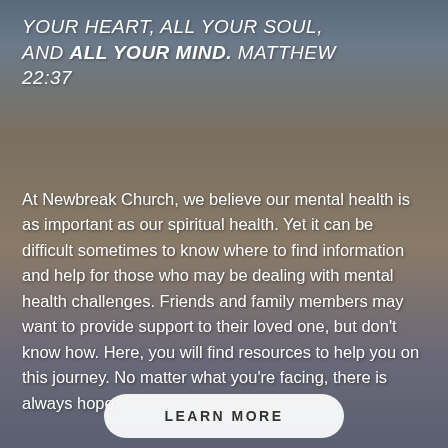YOUR HEART, ALL YOUR SOUL, AND ALL YOUR MIND. MATTHEW 22:37
At Newbreak Church, we believe our mental health is as important as our spiritual health. Yet it can be difficult sometimes to know where to find information and help for those who may be dealing with mental health challenges. Friends and family members may want to provide support to their loved one, but don't know how. Here, you will find resources to help you on this journey. No matter what you're facing, there is always hope.
LEARN MORE